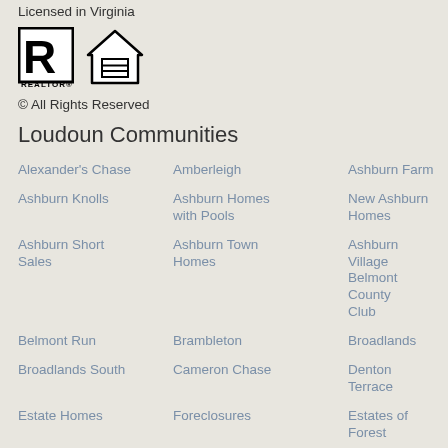Licensed in Virginia
[Figure (logo): Realtor logo and Equal Housing Opportunity logo]
© All Rights Reserved
Loudoun Communities
Alexander's Chase
Amberleigh
Ashburn Farm
Ashburn Knolls
Ashburn Homes with Pools
New Ashburn Homes
Ashburn Short Sales
Ashburn Town Homes
Ashburn Village
Belmont County Club
Belmont Run
Brambleton
Broadlands
Broadlands South
Cameron Chase
Denton Terrace
Estate Homes
Foreclosures
Estates of Forest